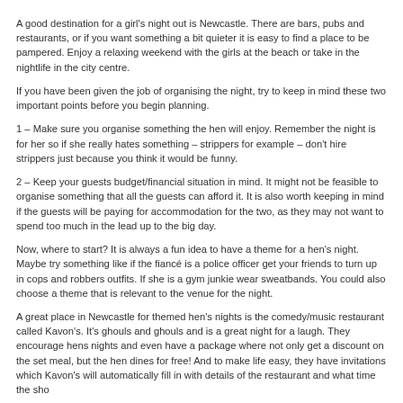A good destination for a girl's night out is Newcastle. There are bars, pubs and restaurants, or if you want something a bit quieter it is easy to find a place to be pampered. Enjoy a relaxing weekend with the girls at the beach or take in the nightlife in the city centre.
If you have been given the job of organising the night, try to keep in mind these two important points before you begin planning.
1 – Make sure you organise something the hen will enjoy. Remember the night is for her so if she really hates something – strippers for example – don't hire strippers just because you think it would be funny.
2 – Keep your guests budget/financial situation in mind. It might not be feasible to organise something that all the guests can afford it. It is also worth keeping in mind if the guests will be paying for accommodation for the two, as they may not want to spend too much in the lead up to the big day.
Now, where to start? It is always a fun idea to have a theme for a hen's night. Maybe try something like if the fiancé is a police officer get your friends to turn up in cops and robbers outfits. If she is a gym junkie wear sweatbands. You could also choose a theme that is relevant to the venue for the night.
A great place in Newcastle for themed hen's nights is the comedy/music restaurant called Kavon's. It's ghouls and ghouls and is a great night for a laugh. They encourage hens nights and even have a package where not only get a discount on the set meal, but the hen dines for free! And to make life easy, they have invitations which Kavon's will automatically fill in with details of the restaurant and what time the show starts.
If this kind of restaurant isn't your thing, choose a venue of your choice and decorate the table yourself from the $2 shop. Just check with the restaurant first that they don't mind if you decorate the place and also mention it's a hen's night so they can place your table in an appropriate spot within the restaurant. The last thing a couple wants at dinner is a rowdy table of ten hens next to them!